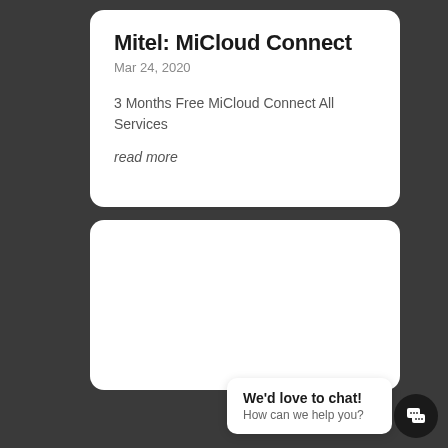Mitel: MiCloud Connect
Mar 24, 2020
3 Months Free MiCloud Connect All Services
read more
We'd love to chat!
How can we help you?